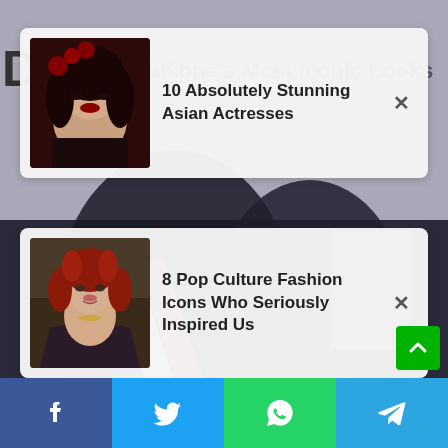[Figure (screenshot): Background photo of two people in formal attire embracing, one wearing a French tricolor sash (blue, white, red). Page screenshot from a news/lifestyle website.]
[Figure (infographic): Ad card with thumbnail of an Asian woman with dark hair and red roses; text reads '10 Absolutely Stunning Asian Actresses' with an X close button]
[Figure (infographic): Ad card with thumbnail of a woman with red curly hair in a formal dress; text reads '8 Pop Culture Fashion Icons Who Seriously Inspired Us' with an X close button]
[Figure (infographic): Bottom social sharing bar with Facebook, Twitter, WhatsApp, and Telegram icons]